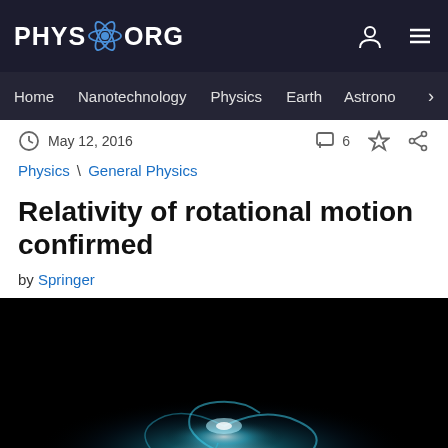PHYS.ORG
Home | Nanotechnology | Physics | Earth | Astronomy
May 12, 2016  6
Physics \ General Physics
Relativity of rotational motion confirmed
by Springer
[Figure (photo): Dark astronomical image showing a glowing blue-white spiral or rotational structure against a black background, illustrating rotational motion in space.]